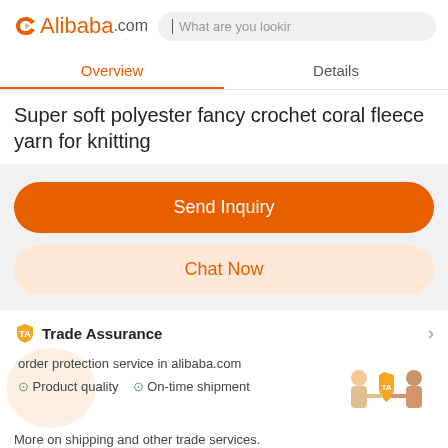[Figure (logo): Alibaba.com logo with orange flame icon and search bar]
Overview
Details
Super soft polyester fancy crochet coral fleece yarn for knitting
Send Inquiry
Chat Now
Trade Assurance
order protection service in alibaba.com
Product quality  On-time shipment
[Figure (illustration): Two people shaking hands with a Trade Assurance shield icon]
More on shipping and other trade services.